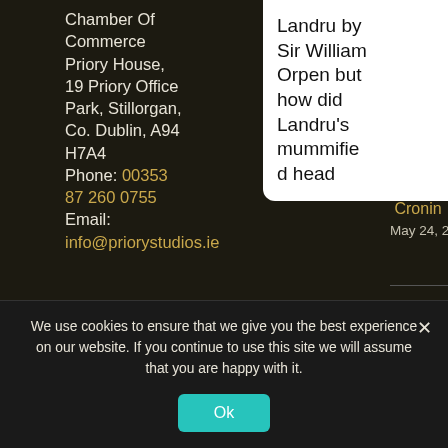Chamber Of Commerce Priory House, 19 Priory Office Park, Stillorgan, Co. Dublin, A94 H7A4
Phone: 00353 87 260 0755
Email:
info@priorystudios.ie
Orpen (1926).
July 12, 2022
> Sir William Orpen and Father Dermot Cronin
May 24, 2022
Landru by Sir William Orpen but how did Landru's mummified head
WWW.SIRWILLIAMGORPEN.COM
We use cookies to ensure that we give you the best experience on our website. If you continue to use this site we will assume that you are happy with it.